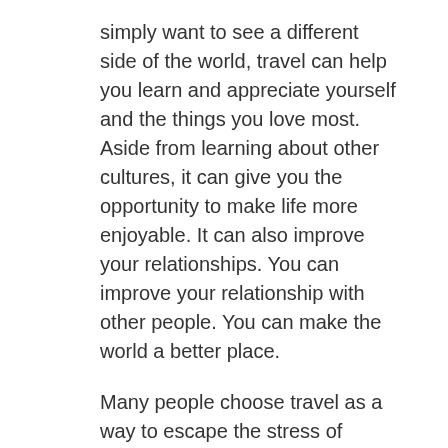simply want to see a different side of the world, travel can help you learn and appreciate yourself and the things you love most. Aside from learning about other cultures, it can give you the opportunity to make life more enjoyable. It can also improve your relationships. You can improve your relationship with other people. You can make the world a better place.
Many people choose travel as a way to escape the stress of everyday life and to experience new cultures. A vacation can be a great way to experience new places. You can visit the Louvre or a beach, or you can visit the Louvre. Oftentimes, it is a way to relax and have fun. If you don't like to rush, traveling can help you find the time to enjoy your new surroundings and make you happier.
Travelling is one of the best ways to improve your life. It can make you feel better and happier, and it is great for your health. It can also help you connect with others...